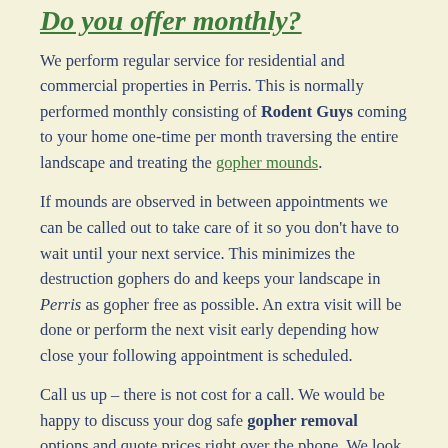Do you offer monthly?
We perform regular service for residential and commercial properties in Perris. This is normally performed monthly consisting of Rodent Guys coming to your home one-time per month traversing the entire landscape and treating the gopher mounds.
If mounds are observed in between appointments we can be called out to take care of it so you don't have to wait until your next service. This minimizes the destruction gophers do and keeps your landscape in Perris as gopher free as possible. An extra visit will be done or perform the next visit early depending how close your following appointment is scheduled.
Call us up – there is not cost for a call. We would be happy to discuss your dog safe gopher removal options and quote prices right over the phone. We look forward to hearing from